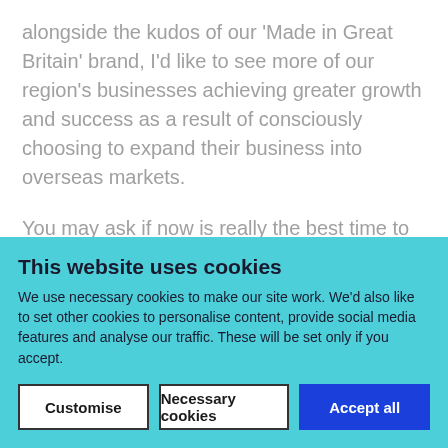alongside the kudos of our 'Made in Great Britain' brand, I'd like to see more of our region's businesses achieving greater growth and success as a result of consciously choosing to expand their business into overseas markets.

You may ask if now is really the best time to consider this. For many SMEs, the prospect of exporting can seem daunting enough, without the chaos and uncertainty we find ourselves in currently as a result of Brexit.

Brexit nervousness is resulting in short term stockpiling, some of which we're seeing at our own freight terminal
This website uses cookies
We use necessary cookies to make our site work. We'd also like to set other cookies to personalise content, provide social media features and analyse our traffic. These will be set only if you accept.